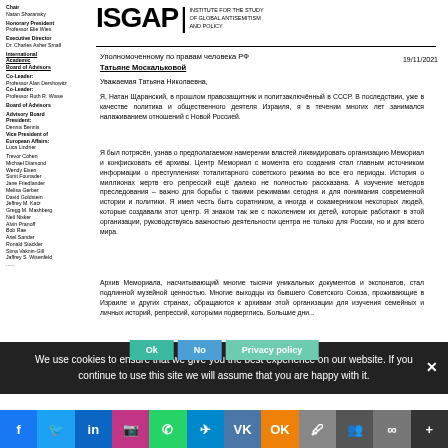ISGAP | INSTITUTE FOR THE STUDY OF GLOBAL ANTISEMITISM AND POLICY
Chair
Natan Sharansky

Honorary President
Professor Elie Wies

Executive Director
Dr. Charles Asher Small

International Academic Board of Advisors

Co-Leader:
Professor Alan Dershowitz
Co-Leader:
Professor Ruth R. Wisse

Board of Advisors

Advisory Board President:
Dennis Bennis
Vice President of European Affairs:
Luca Lindner

Trevor Cohen
Michael Diamond
Wendy Eisen
Sunit Founader
Jane Friedlander
Melisa Gerber
David Goldstein
Jeffrey M. Katz
Gregg M. Mashberg
Neil Nisker
Alvin Pranoff
Bob Rae
Ariel Sander
Ronald Stackler
Sima Vaknin-Gill
Jaffrey S. Wisenfeld
...
19/11/2021
Уполномоченному по правам человека РФ
Татьяне Москальковой
Уважаемая Татьяна Николаевна,
Я, Натан Щаранский, в прошлом правозащитник и политзаключённый в СССР. В последствии, уже в качестве политика и общественного деятеля Израиля, я в течении многих лет занимался налаживанием отношений с Новой Россией.
Я был потрясён, узнав о предполагаемом намерении властей ликвидировать организацию Мемориал и конфисковать её архивы. Центр Мемориал с момента его создания стал главным источником информации о преступлениях тоталитарного советского режима во все его периоды. История о миллионах жертв его репрессий ещё далеко не полностью рассказана. А изучение методов преследования – важно для борьбы с такими режимами сегодня и для понимания современной истории и политики. Я имел честь быть соратником, а иногда и сокамерником некоторых людей, которые создавали этот центр. Я знаком так же с поколением их детей, которые работают в этой организации, руководствуясь важностью деятельности центра не только для России, но и для всего мира.
Архив Мемориала, насчитывающий многие тысячи уникальных документов и экспонатов, стал подлинной музейной ценностью. Многие выходцы из бывшего Советского Союза, проживающие в Израиле и других странах, обращаются к архивам этой организации для изучения семейных и личных историй, репрессий, которыми подверглись. Большие дни...
We use cookies to ensure that we give you the best experience on our website. If you continue to use this site we will assume that you are happy with it.
Ok  No  Privacy policy